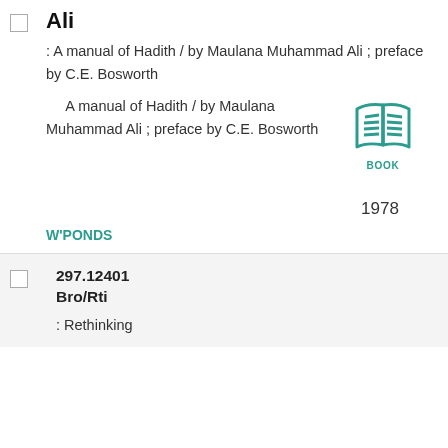Ali
: A manual of Hadith / by Maulana Muhammad Ali ; preface by C.E. Bosworth
A manual of Hadith / by Maulana Muhammad Ali ; preface by C.E. Bosworth
[Figure (illustration): Teal book icon with lines representing pages, labeled BOOK]
1978
W'PONDS
297.12401
Bro/Rti
: Rethinking